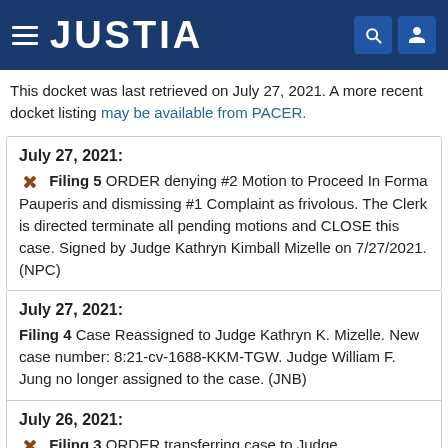JUSTIA
This docket was last retrieved on July 27, 2021. A more recent docket listing may be available from PACER.
July 27, 2021: Filing 5 ORDER denying #2 Motion to Proceed In Forma Pauperis and dismissing #1 Complaint as frivolous. The Clerk is directed terminate all pending motions and CLOSE this case. Signed by Judge Kathryn Kimball Mizelle on 7/27/2021. (NPC)
July 27, 2021: Filing 4 Case Reassigned to Judge Kathryn K. Mizelle. New case number: 8:21-cv-1688-KKM-TGW. Judge William F. Jung no longer assigned to the case. (JNB)
July 26, 2021: Filing 3 ORDER transferring case to Judge